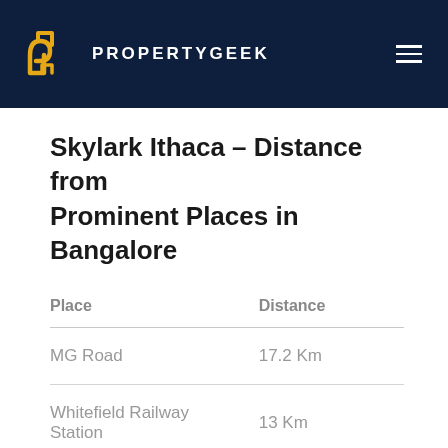PROPERTYGEEK
Skylark Ithaca – Distance from Prominent Places in Bangalore
| Place | Distance |
| --- | --- |
| MG Road | 17.2 Km |
| Whitefield Railway Station | 13 Km |
| Kempegowda International Airport | 36 Km |